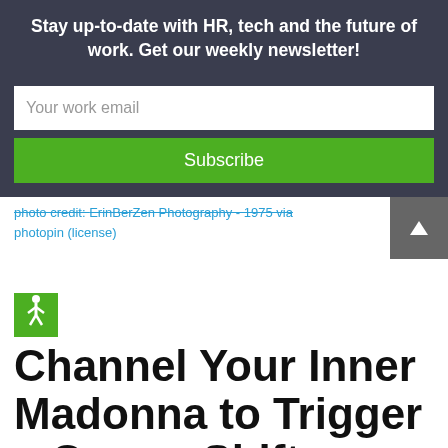Stay up-to-date with HR, tech and the future of work. Get our weekly newsletter!
Your work email
Subscribe
photo credit: ErinBerZen Photography - 1975 via photopin (license)
Channel Your Inner Madonna to Trigger a Career Shift
July 15, 2011 / Archives / by Judy Martin
(Editor's Note: All of us in the TalentCulture